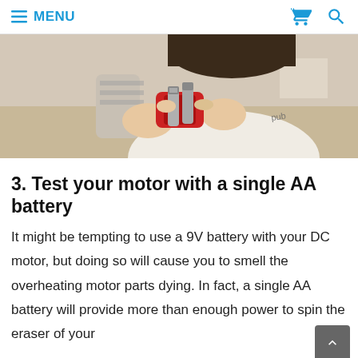≡ MENU
[Figure (photo): Child's hands holding AA batteries over a red battery holder]
3. Test your motor with a single AA battery
It might be tempting to use a 9V battery with your DC motor, but doing so will cause you to smell the overheating motor parts dying. In fact, a single AA battery will provide more than enough power to spin the eraser of your